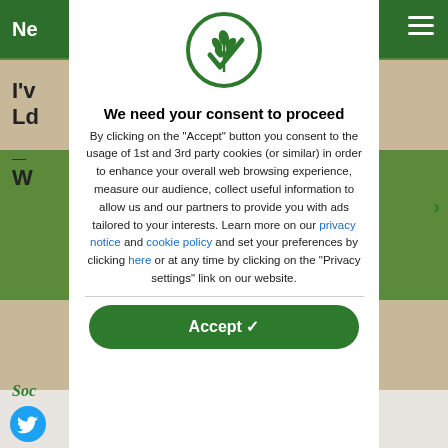[Figure (logo): Green circular logo with wheat/grain and checkmark symbol]
We need your consent to proceed
By clicking on the "Accept" button you consent to the usage of 1st and 3rd party cookies (or similar) in order to enhance your overall web browsing experience, measure our audience, collect useful information to allow us and our partners to provide you with ads tailored to your interests. Learn more on our privacy notice and cookie policy and set your preferences by clicking here or at any time by clicking on the "Privacy settings" link on our website.
Accept ✓